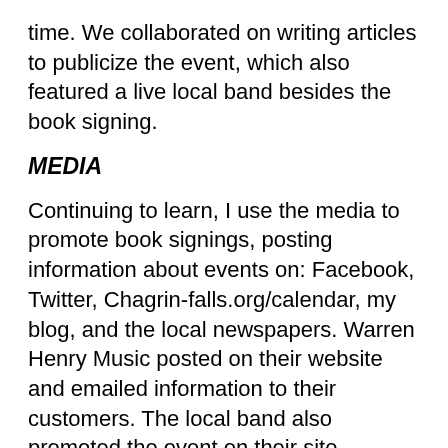time. We collaborated on writing articles to publicize the event, which also featured a live local band besides the book signing.
MEDIA
Continuing to learn, I use the media to promote book signings, posting information about events on: Facebook, Twitter, Chagrin-falls.org/calendar, my blog, and the local newspapers. Warren Henry Music posted on their website and emailed information to their customers. The local band also promoted the event on their site.
IN REAL WORLD
Round and round we go. Jump on the media-go-round so that you can grab the brass ring connecting with people and sharing the stories you write. Make